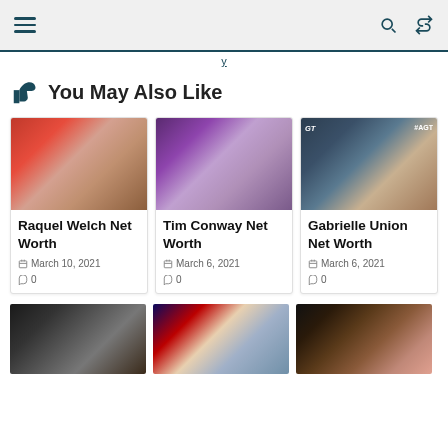≡  🔍 ⇄
👍 You May Also Like
[Figure (photo): Photo of Raquel Welch smiling, red background]
Raquel Welch Net Worth
March 10, 2021
0
[Figure (photo): Photo of Tim Conway in purple sweater]
Tim Conway Net Worth
March 6, 2021
0
[Figure (photo): Photo of Gabrielle Union at AGT event]
Gabrielle Union Net Worth
March 6, 2021
0
[Figure (photo): Photo of Luke Perry at an event]
[Figure (photo): Photo of couple in Superman costume]
[Figure (photo): Photo of couple smiling at formal event]